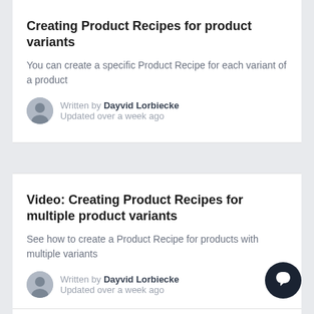Creating Product Recipes for product variants
You can create a specific Product Recipe for each variant of a product
Written by Dayvid Lorbiecke
Updated over a week ago
Video: Creating Product Recipes for multiple product variants
See how to create a Product Recipe for products with multiple variants
Written by Dayvid Lorbiecke
Updated over a week ago
Using subassemblies in Product